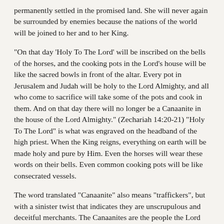permanently settled in the promised land. She will never again be surrounded by enemies because the nations of the world will be joined to her and to her King.
"On that day 'Holy To The Lord' will be inscribed on the bells of the horses, and the cooking pots in the Lord's house will be like the sacred bowls in front of the altar. Every pot in Jerusalem and Judah will be holy to the Lord Almighty, and all who come to sacrifice will take some of the pots and cook in them. And on that day there will no longer be a Canaanite in the house of the Lord Almighty." (Zechariah 14:20-21) "Holy To The Lord" is what was engraved on the headband of the high priest. When the King reigns, everything on earth will be made holy and pure by Him. Even the horses will wear these words on their bells. Even common cooking pots will be like consecrated vessels.
The word translated "Canaanite" also means "traffickers", but with a sinister twist that indicates they are unscrupulous and deceitful merchants. The Canaanites are the people the Lord commanded Israel to drive out of the promised land, although Israel never fully carried out His orders. But when the Lord is King over all the earth, the entire world will become like the promised land, and